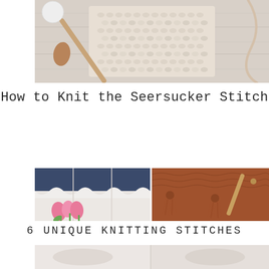[Figure (photo): Top-down photo on a light wood surface showing a knitted swatch in natural/cream chunky yarn with a textured seersucker stitch pattern, a wooden knitting needle, a small seashell, a white circular object, and a length of natural cord/string.]
How to Knit the Seersucker Stitch
[Figure (photo): Collage of two knitting photos: left panel shows navy/dark blue lace-edged knitting with pink tulips; right panel shows rust/burnt orange textured knit with tassels and bamboo knitting needles.]
6 UNIQUE KNITTING STITCHES
[Figure (photo): Partial bottom strip showing a faded/light knitting photo, partially visible.]